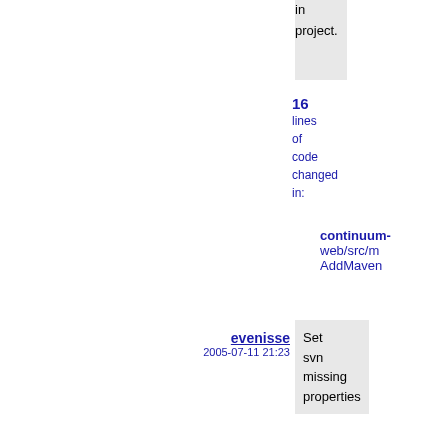in the project.
16 lines of code changed in:
continuum-web/src/m AddMaven
evenisse 2005-07-11 21:23
Set svn missing properties
0 lines of code changed in:
continuum-web/src/m AddMaven AddMaven